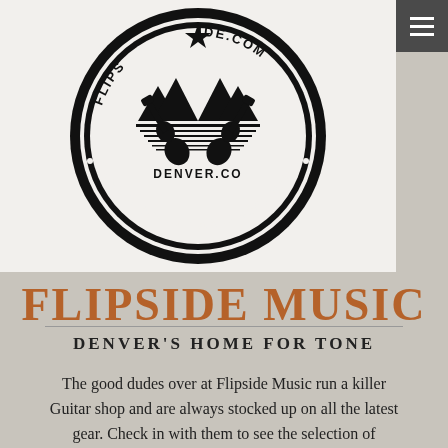[Figure (logo): Circular stamp logo for Flipside Music, Denver CO, with crossed guitars, mountains, star, and text 'LIFE IS SHORT MAKE SOME NOISE']
FLIPSIDE MUSIC
DENVER'S HOME FOR TONE
The good dudes over at Flipside Music run a killer Guitar shop and are always stocked up on all the latest gear. Check in with them to see the selection of